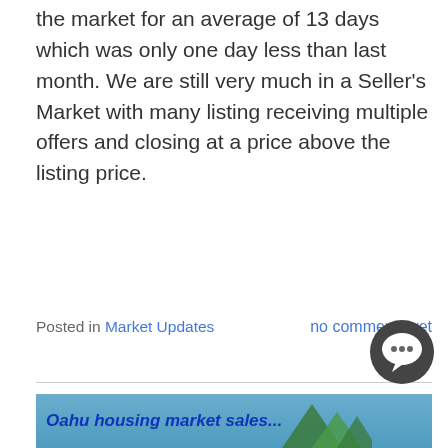the market for an average of 13 days which was only one day less than last month. We are still very much in a Seller's Market with many listing receiving multiple offers and closing at a price above the listing price.
Posted in Market Updates   no comments yet
OAHU REAL ESTATE STATISTICS FOR MARCH 2021
April 6, 2021
[Figure (illustration): Partial image strip showing 'Oahu housing market sales' text with blue background and green decorative shapes on the right side]